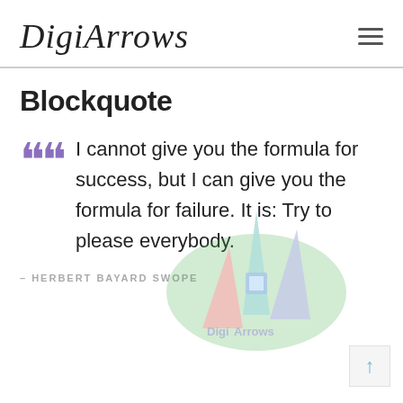DigiArrows
Blockquote
I cannot give you the formula for success, but I can give you the formula for failure. It is: Try to please everybody.
– HERBERT BAYARD SWOPE